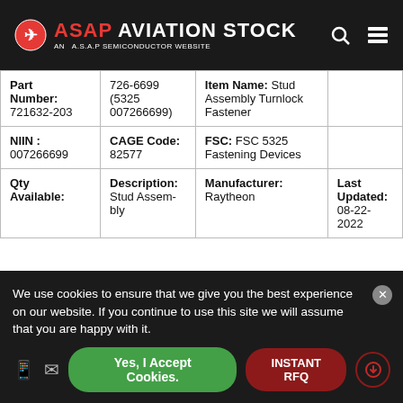ASAP AVIATION STOCK — AN A.S.A.P SEMICONDUCTOR WEBSITE
| Part Number | NSN | Item Name |  |
| --- | --- | --- | --- |
| Part Number: 721632-203 | 726-6699 (5325 007266699) | Item Name: Stud Assembly Turnlock Fastener |  |
| NIIN: 007266699 | CAGE Code: 82577 | FSC: FSC 5325 Fastening Devices |  |
| Qty Available: | Description: Stud Assembly Turnlock Fastener | Manufacturer: Raytheon | Last Updated: 08-22-2022 |
We use cookies to ensure that we give you the best experience on our website. If you continue to use this site we will assume that you are happy with it.